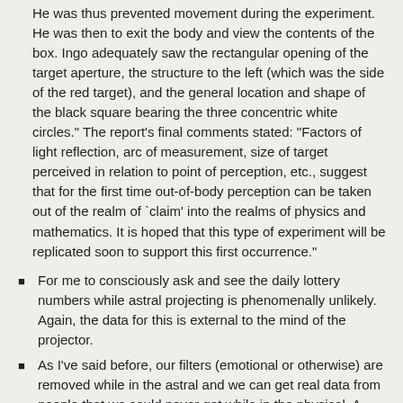He was thus prevented movement during the experiment. He was then to exit the body and view the contents of the box. Ingo adequately saw the rectangular opening of the target aperture, the structure to the left (which was the side of the red target), and the general location and shape of the black square bearing the three concentric white circles." The report's final comments stated: "Factors of light reflection, arc of measurement, size of target perceived in relation to point of perception, etc., suggest that for the first time out-of-body perception can be taken out of the realm of `claim' into the realms of physics and mathematics. It is hoped that this type of experiment will be replicated soon to support this first occurrence."
For me to consciously ask and see the daily lottery numbers while astral projecting is phenomenally unlikely. Again, the data for this is external to the mind of the projector.
As I've said before, our filters (emotional or otherwise) are removed while in the astral and we can get real data from people that we could never get while in the physical. A man wrote to me and said that he had astrally projected and met his brother's higher self. His brother confided in him that he was having an extra marital affair and even described the